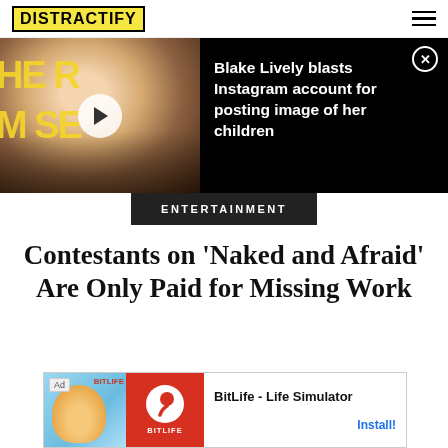DISTRACTIFY
[Figure (photo): Promotional banner with photo of Blake Lively at what appears to be a movie premiere, with text overlay showing partial title text in yellow. Includes a play button overlay.]
Blake Lively blasts Instagram account for posting image of her children
ENTERTAINMENT
Contestants on 'Naked and Afraid' Are Only Paid for Missing Work
[Figure (screenshot): Advertisement banner for BitLife - Life Simulator app. Shows Ad label, illustrated baby character on blue background, BitLife logo on red background, app name and Install! button.]